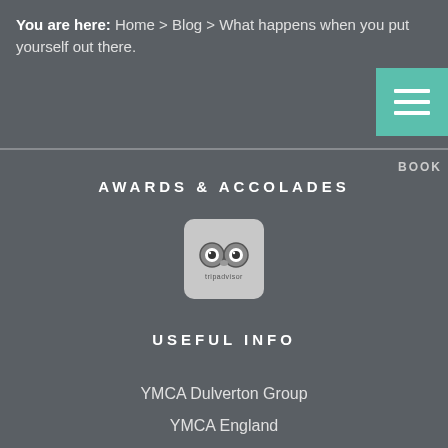You are here: Home > Blog > What happens when you put yourself out there.
AWARDS & ACCOLADES
[Figure (logo): TripAdvisor owl logo in a rounded square badge]
USEFUL INFO
YMCA Dulverton Group
YMCA England
Exmoor National Park
Visit Exmoor
OTHER INFO
Privacy & Cookies